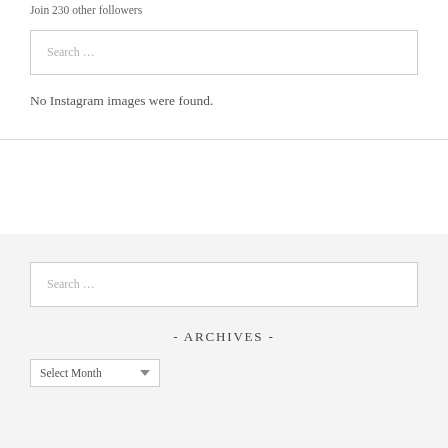Join 230 other followers
Search ...
No Instagram images were found.
Search ...
- ARCHIVES -
Select Month